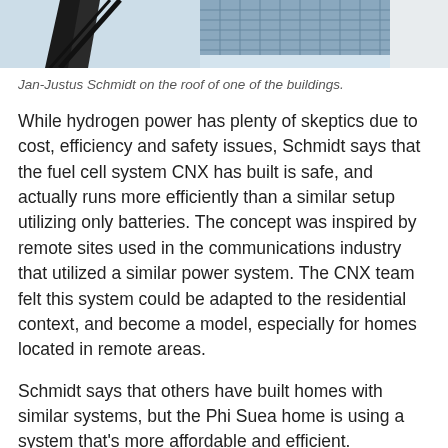[Figure (photo): Partial view of building rooftop with solar panels and structural elements against a light blue sky, showing Jan-Justus Schmidt on the roof.]
Jan-Justus Schmidt on the roof of one of the buildings.
While hydrogen power has plenty of skeptics due to cost, efficiency and safety issues, Schmidt says that the fuel cell system CNX has built is safe, and actually runs more efficiently than a similar setup utilizing only batteries. The concept was inspired by remote sites used in the communications industry that utilized a similar power system. The CNX team felt this system could be adapted to the residential context, and become a model, especially for homes located in remote areas.
Schmidt says that others have built homes with similar systems, but the Phi Suea home is using a system that's more affordable and efficient.
“All the technologies used here are existing